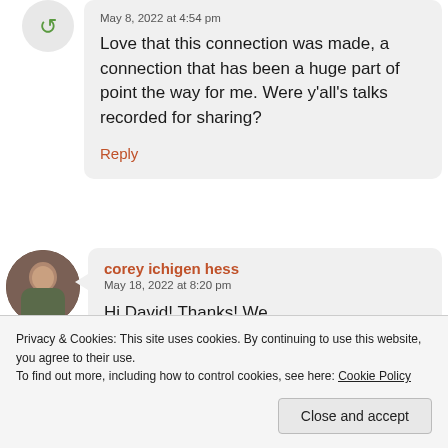May 8, 2022 at 4:54 pm
Love that this connection was made, a connection that has been a huge part of point the way for me. Were y'all's talks recorded for sharing?
Reply
corey ichigen hess
May 18, 2022 at 8:20 pm
Hi David! Thanks! We unfortunately did not record the
Privacy & Cookies: This site uses cookies. By continuing to use this website, you agree to their use.
To find out more, including how to control cookies, see here: Cookie Policy
Close and accept